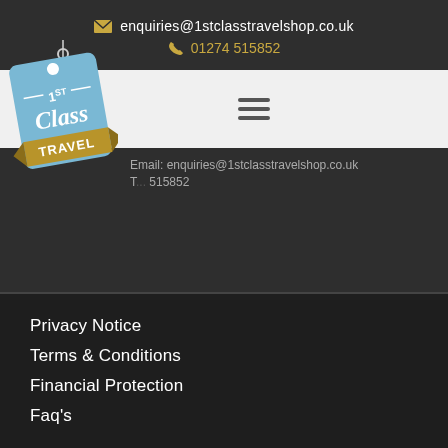enquiries@1stclasstravelshop.co.uk  01274 515852
[Figure (logo): 1st Class Travel tag-shaped logo in blue with gold banner]
Email: enquiries@1stclasstravelshop.co.uk
T... 515852
Privacy Notice
Terms & Conditions
Financial Protection
Faq's